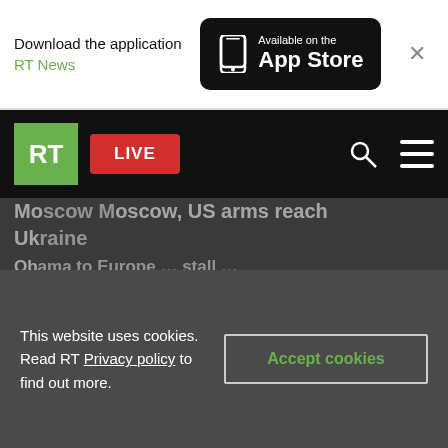[Figure (screenshot): App Store download banner with RT News text and Available on the App Store badge]
RT LIVE
[Figure (screenshot): Partially visible article image strip]
Moscow, Moscow, US arms reach Ukraine... / Obama to Europe...
This website uses cookies. Read RT Privacy policy to find out more. [Accept cookies button]